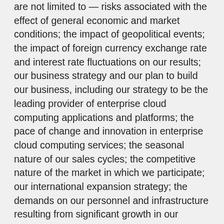are not limited to — risks associated with the effect of general economic and market conditions; the impact of geopolitical events; the impact of foreign currency exchange rate and interest rate fluctuations on our results; our business strategy and our plan to build our business, including our strategy to be the leading provider of enterprise cloud computing applications and platforms; the pace of change and innovation in enterprise cloud computing services; the seasonal nature of our sales cycles; the competitive nature of the market in which we participate; our international expansion strategy; the demands on our personnel and infrastructure resulting from significant growth in our customer base and operations, including as a result of acquisitions; our service performance and security, including the resources and costs required to avoid unanticipated downtime and prevent, detect and remediate potential security breaches; the expenses associated with our data centers and third-party infrastructure providers; additional data center capacity; real estate and office facilities management; the quality and